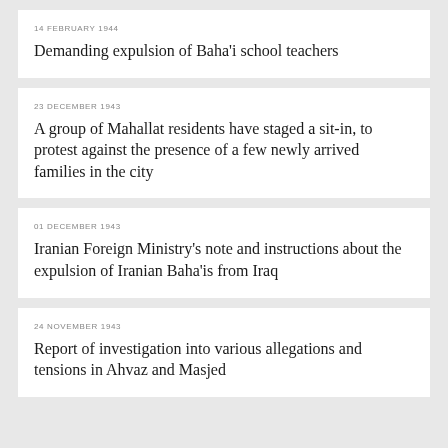14 FEBRUARY 1944
Demanding expulsion of Baha'i school teachers
23 DECEMBER 1943
A group of Mahallat residents have staged a sit-in, to protest against the presence of a few newly arrived families in the city
01 DECEMBER 1943
Iranian Foreign Ministry's note and instructions about the expulsion of Iranian Baha'is from Iraq
24 NOVEMBER 1943
Report of investigation into various allegations and tensions in Ahvaz and Masjed